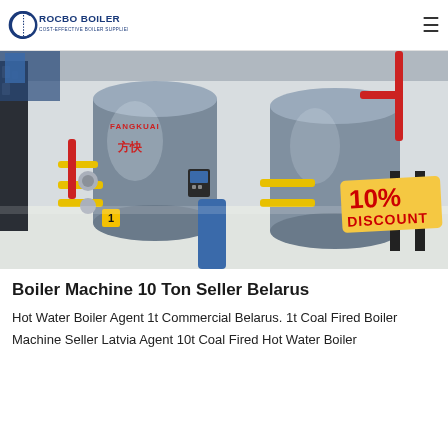ROCBO BOILER — COST-EFFECTIVE BOILER SUPPLIER
[Figure (photo): Industrial boiler room showing large cylindrical steel boilers with yellow and red piping, labeled with Chinese characters and a '10% DISCOUNT' badge in the lower right corner.]
Boiler Machine 10 Ton Seller Belarus
Hot Water Boiler Agent 1t Commercial Belarus. 1t Coal Fired Boiler Machine Seller Latvia Agent 10t Coal Fired Hot Water Boiler